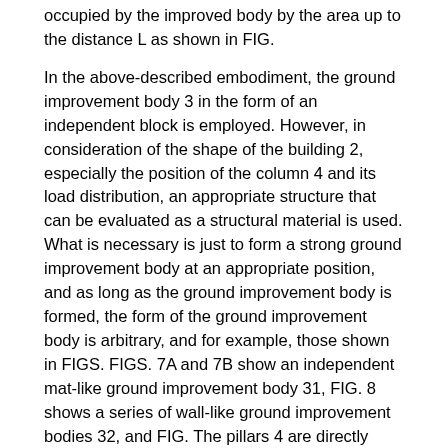occupied by the improved body by the area up to the distance L as shown in FIG.
In the above-described embodiment, the ground improvement body 3 in the form of an independent block is employed. However, in consideration of the shape of the building 2, especially the position of the column 4 and its load distribution, an appropriate structure that can be evaluated as a structural material is used. What is necessary is just to form a strong ground improvement body at an appropriate position, and as long as the ground improvement body is formed, the form of the ground improvement body is arbitrary, and for example, those shown in FIGS. FIGS. 7A and 7B show an independent mat-like ground improvement body 31, FIG. 8 shows a series of wall-like ground improvement bodies 32, and FIG. The pillars 4 are directly supported by the ground improvement bodies 31, 32, and 33. The independent mat-like ground improvement body 31 shown in FIG. 7 substantially functions as a foundation bottom slab, and the wall-like or lattice-like ground improvement bodies 32 and 33 shown in FIGS. Since they function as walls, all of them can omit or significantly reduce the original foundation as well as the